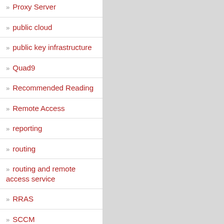Proxy Server
public cloud
public key infrastructure
Quad9
Recommended Reading
Remote Access
reporting
routing
routing and remote access service
RRAS
SCCM
SCEP